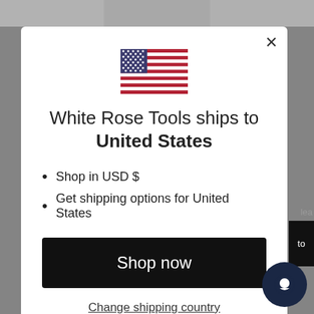[Figure (screenshot): E-commerce website screenshot showing product images in background (paint markers, tools) partially visible behind a modal dialog]
White Rose Tools ships to United States
Shop in USD $
Get shipping options for United States
Shop now
Change shipping country